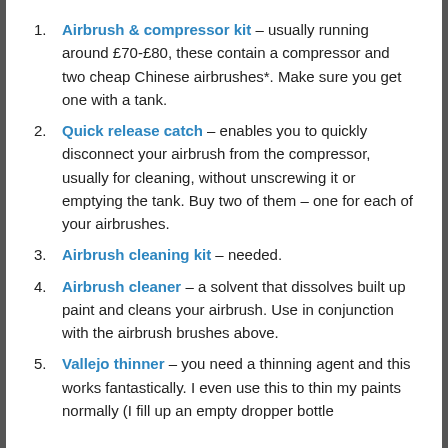Airbrush & compressor kit – usually running around £70-£80, these contain a compressor and two cheap Chinese airbrushes*. Make sure you get one with a tank.
Quick release catch – enables you to quickly disconnect your airbrush from the compressor, usually for cleaning, without unscrewing it or emptying the tank. Buy two of them – one for each of your airbrushes.
Airbrush cleaning kit – needed.
Airbrush cleaner – a solvent that dissolves built up paint and cleans your airbrush. Use in conjunction with the airbrush brushes above.
Vallejo thinner – you need a thinning agent and this works fantastically. I even use this to thin my paints normally (I fill up an empty dropper bottle